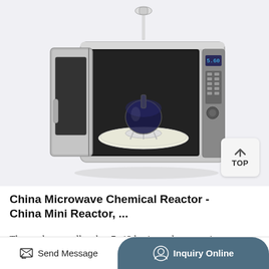[Figure (photo): Photo of a China Microwave Chemical Reactor — a silver microwave-style unit with open door revealing a round-bottom flask on a rotating platform inside, with a reflux condenser fitting on top.]
China Microwave Chemical Reactor - China Mini Reactor, ...
The product usually takes 7--13 business days to arrive to your hand after your order is confirmed Description The working principle of microwave chemical reactor: Microwave is a
Send Message   Inquiry Online